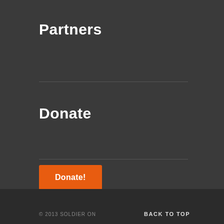Partners
Donate
Donate!
© 2013 SOLDIER ON
BACK TO TOP